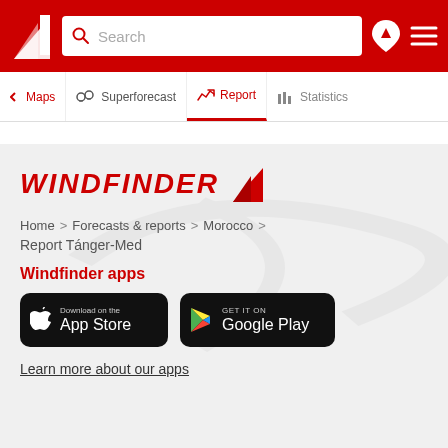Windfinder - Search navigation bar with Maps, Superforecast, Report, Statistics tabs
[Figure (screenshot): Windfinder logo with red triangle/arrow icon and text WINDFINDER in red italic bold]
Home > Forecasts & reports > Morocco >
Report Tánger-Med
Windfinder apps
[Figure (logo): Download on the App Store button (black rounded rectangle)]
[Figure (logo): Get it on Google Play button (black rounded rectangle)]
Learn more about our apps